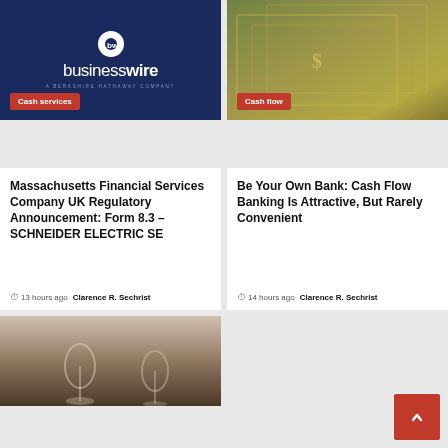[Figure (logo): BusinessWire logo on dark navy background — 'businesswire' in bold white sans-serif, 'A BERKSHIRE HATHAWAY COMPANY' subtitle below]
Cash services
[Figure (photo): Close-up photo of US dollar banknotes fanned out]
Cash flow
Massachusetts Financial Services Company UK Regulatory Announcement: Form 8.3 – SCHNEIDER ELECTRIC SE
13 hours ago  Clarence R. Sechrist
Be Your Own Bank: Cash Flow Banking Is Attractive, But Rarely Convenient
14 hours ago  Clarence R. Sechrist
[Figure (photo): Blurred restaurant or dining scene with wine glasses in foreground]